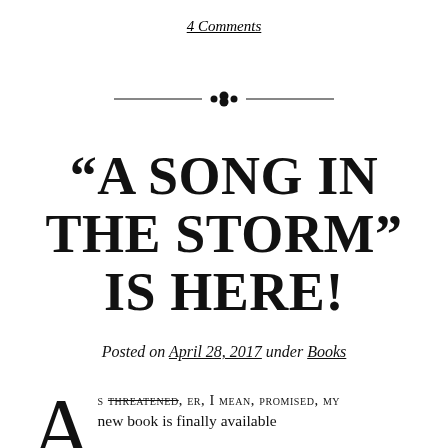4 Comments
[Figure (illustration): Decorative horizontal divider with a small floral/diamond ornament in the center flanked by horizontal lines]
“A SONG IN THE STORM” IS HERE!
Posted on April 28, 2017 under Books
As threatened, er, I mean, promised, my new book is finally available